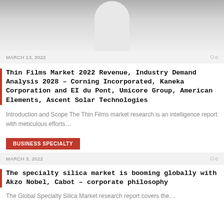[Figure (photo): Partial silhouette or arch shape image, grayscale, cropped at top]
MARCH 13, 2022
0
Thin Films Market 2022 Revenue, Industry Demand Analysis 2028 – Corning Incorporated, Kaneka Corporation and EI du Pont, Umicore Group, American Elements, Ascent Solar Technologies
Introduction and Scope The Thin Films market research is an intelligence report with meticulous efforts...
BUSINESS SPECIALTY
MARCH 3, 2022
0
The specialty silica market is booming globally with Akzo Nobel, Cabot – corporate philosophy
The Global Specialty Silica Market research report covers the...